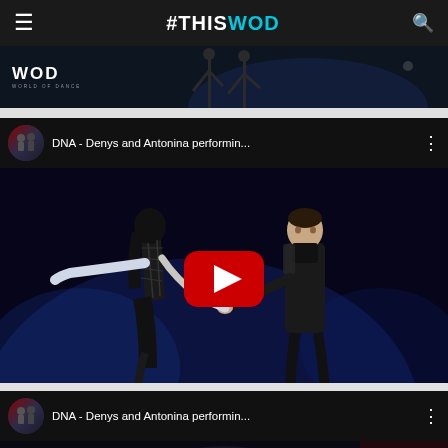#THISISWOD
[Figure (screenshot): Banner image strip showing WOD (World of Dance) logo with dancers silhouette in dark background]
[Figure (screenshot): YouTube video embed - DNA - Denys and Antonina performin... - showing two dancers performing on stage, woman in backless black outfit and man in black, with red YouTube play button overlay]
[Figure (screenshot): Second YouTube video embed - DNA - Denys and Antonina performin... - showing singer/performer on stage]